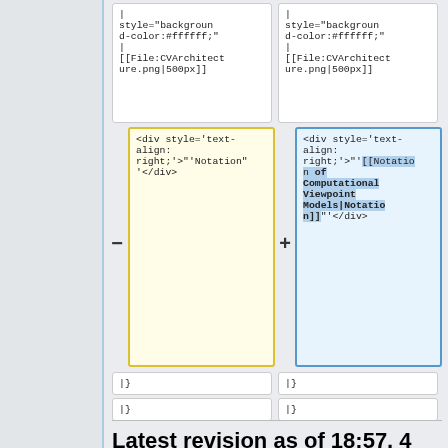|  |  |
| --- | --- |
| style="background-color:#ffffff;"|
[[File:CVArchitecture.png|500px]] | style="background-color:#ffffff;"|
[[File:CVArchitecture.png|500px]] |
| <div style='text-align: right;'>"'Notation"'</div> | <div style='text-align: right;'>"'[[Notation of Computational Viewpoint Models|Notation]]"'</div> |
| |} | |} |
| |} | |} |
Latest revision as of 18:57, 4 April 2020